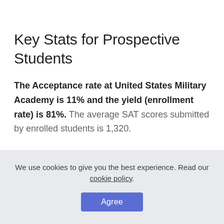Key Stats for Prospective Students
The Acceptance rate at United States Military Academy is 11% and the yield (enrollment rate) is 81%. The average SAT scores submitted by enrolled students is 1,320.
The average graduation rate is 85%. Total 4,536 students are attending the school and the school offers campus
We use cookies to give you the best experience. Read our cookie policy.